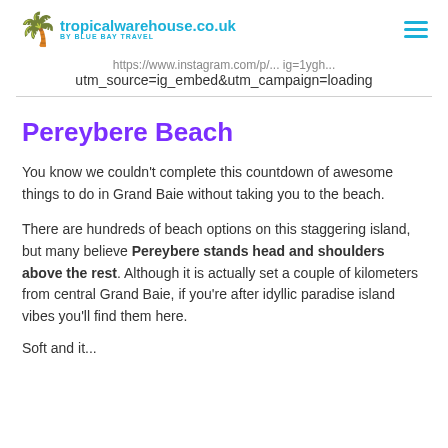tropicalwarehouse.co.uk BY BLUE BAY TRAVEL
https://www.instagram.com/p/... utm_source=ig_embed&utm_campaign=loading
Pereybere Beach
You know we couldn't complete this countdown of awesome things to do in Grand Baie without taking you to the beach.
There are hundreds of beach options on this staggering island, but many believe Pereybere stands head and shoulders above the rest. Although it is actually set a couple of kilometers from central Grand Baie, if you're after idyllic paradise island vibes you'll find them here.
Soft and it...